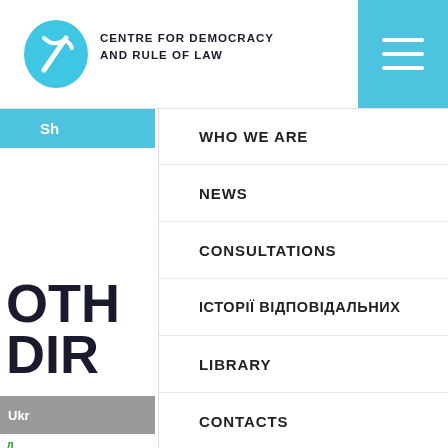CENTRE FOR DEMOCRACY AND RULE OF LAW
WHO WE ARE
NEWS
CONSULTATIONS
ІСТОРІЇ ВІДПОВІДАЛЬНИХ
LIBRARY
CONTACTS
OTH... DIR...
Ukr...
НЕУР...
How fo... charit...